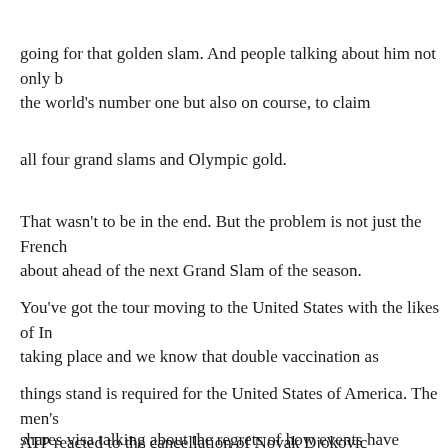going for that golden slam. And people talking about him not only being the world's number one but also on course, to claim
all four grand slams and Olympic gold.
That wasn't to be in the end. But the problem is not just the French about ahead of the next Grand Slam of the season.
You've got the tour moving to the United States with the likes of In taking place and we know that double vaccination as
things stand is required for the United States of America. The men's ATP reacted to the cancellation of Novak Djokovic
shares visa talking about the regrets of how events have unfolded.